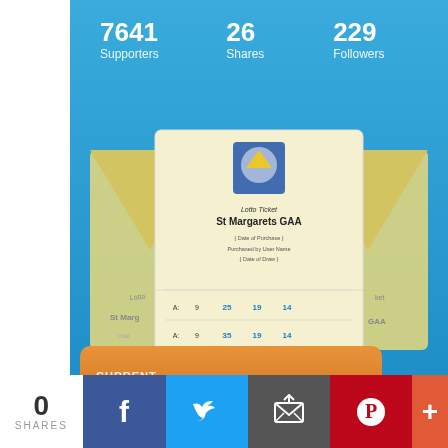7641 Supporters
26 Shares
229 Followers
[Figure (illustration): Lotto ticket for St Margarets GAA shown with envelope background, numbers visible]
[Figure (infographic): Orange jackpot banner showing CURRENT LOTTO JACKPOT €12400]
PLAY NOW
7641 people just
0 SHARES
[Figure (infographic): Social share bar with Facebook, Twitter, Email, Pinterest, and More buttons]